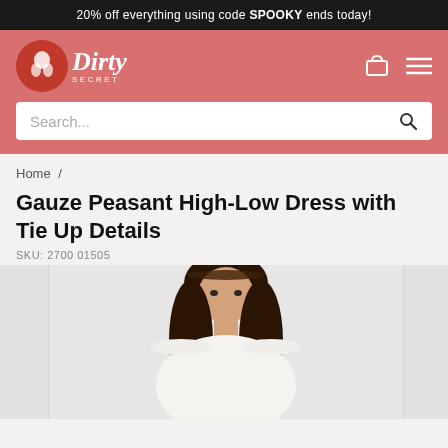20% off everything using code SPOOKY ends today!
[Figure (logo): Dirty Secret brand logo with red circle icon and italic serif wordmark]
Search...
Home /
Gauze Peasant High-Low Dress with Tie Up Details
SKU: 2700 01505
[Figure (photo): Female model wearing a white off-shoulder gauze peasant dress with tie-up details and a dark braided headband, dark wavy hair, photographed from upper body up]